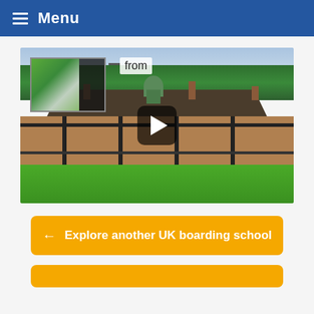Menu
[Figure (photo): Aerial drone photograph of a traditional English boarding school building with Tudor-style architecture, red brick and timber framing, clock tower, multiple chimneys, surrounded by green lawns and trees. A video play button overlay is shown in the center, and a small thumbnail preview with 'from' label is in the top-left corner.]
← Explore another UK boarding school